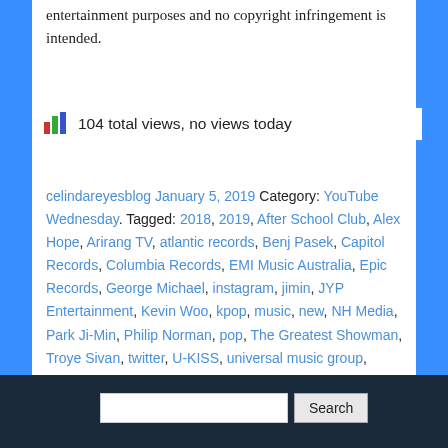entertainment purposes and no copyright infringement is intended.
104 total views, no views today
celindareyesblog January 5, 2019 Category: YouTube Wednesday. Tagged: 2018, 2019, After School Club, Alex Hope, Arirang TV, atlantic records, Benj Pasek, Capitol Records, Columbia Records, EMI Music Australia, Epic Records, George Michael, instagram, jimin, JYP Entertainment, Kevin Woo, kpop, music, new, NH Media, Park Ji-Min, Philip Norman, pop, The Greatest Showman, Troye Sivan, twitter, U-KISS, universal music group, WHAM!, XING, XING Entertainment, youtube.
Search